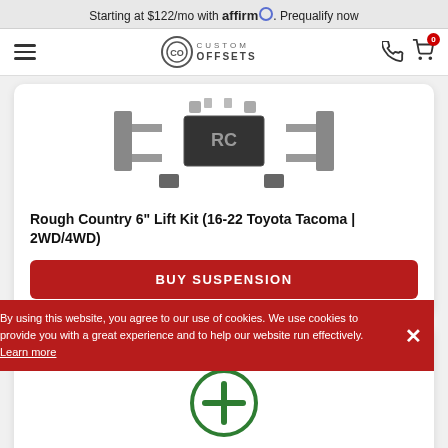Starting at $122/mo with affirm. Prequalify now
[Figure (screenshot): Custom Offsets website navigation bar with hamburger menu, logo, phone and cart icons]
[Figure (photo): Rough Country 6 inch Lift Kit product image showing suspension components]
Rough Country 6" Lift Kit (16-22 Toyota Tacoma | 2WD/4WD)
BUY SUSPENSION
Shop All Accessories
[Figure (illustration): Green circle with plus sign indicating shop all accessories]
By using this website, you agree to our use of cookies. We use cookies to provide you with a great experience and to help our website run effectively. Learn more